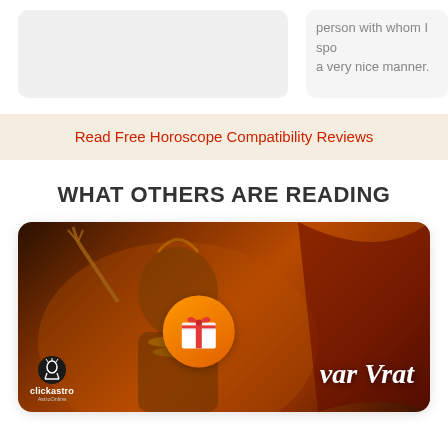[Figure (photo): Two card/review boxes partially visible at top: left is a light gray empty card, right shows partial text 'person with whom I spo... a very nice manner.']
person with whom I spo... a very nice manner.
Read Free Horoscope Compatibility Reviews
WHAT OTHERS ARE READING
[Figure (photo): Article card showing a golden/orange-tinted image of Lord Shiva statue with trident, an orange circle gift icon overlay in the center-left area, text 'var Vrat' in white italic on the right side, and clickastro logo in the bottom left corner.]